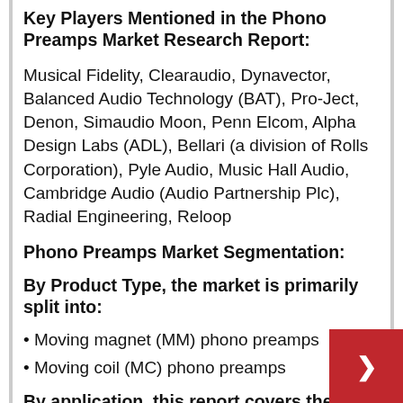Key Players Mentioned in the Phono Preamps Market Research Report:
Musical Fidelity, Clearaudio, Dynavector, Balanced Audio Technology (BAT), Pro-Ject, Denon, Simaudio Moon, Penn Elcom, Alpha Design Labs (ADL), Bellari (a division of Rolls Corporation), Pyle Audio, Music Hall Audio, Cambridge Audio (Audio Partnership Plc), Radial Engineering, Reloop
Phono Preamps Market Segmentation:
By Product Type, the market is primarily split into:
• Moving magnet (MM) phono preamps
• Moving coil (MC) phono preamps
By application, this report covers the following segments: